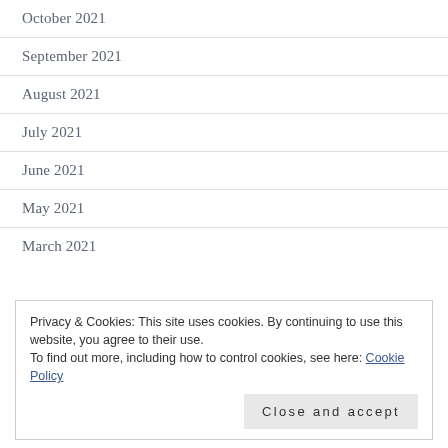October 2021
September 2021
August 2021
July 2021
June 2021
May 2021
March 2021
Privacy & Cookies: This site uses cookies. By continuing to use this website, you agree to their use. To find out more, including how to control cookies, see here: Cookie Policy
Close and accept